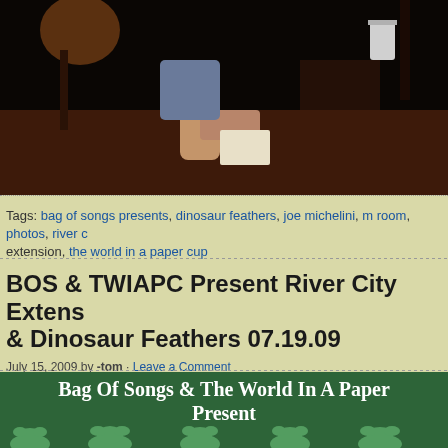[Figure (photo): Dark photo of a person's hands at a table with a cup visible, shot in a dim venue]
Tags: bag of songs presents, dinosaur feathers, joe michelini, m room, photos, river c extension, the world in a paper cup
BOS & TWIAPC Present River City Extens & Dinosaur Feathers 07.19.09
July 15, 2009 by -tom · Leave a Comment
Filed under: Uncategorized
[Figure (illustration): Green banner with white text reading 'Bag Of Songs & The World In A Paper Present' with decorative frog/animal silhouettes at the bottom]